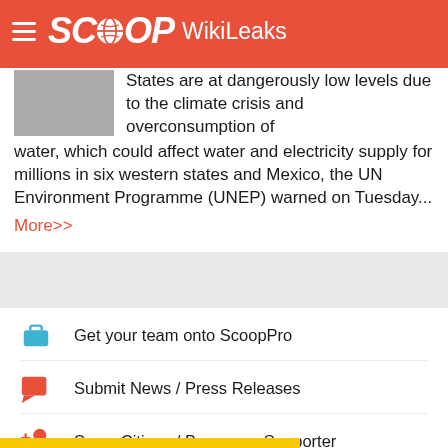SCOOP WikiLeaks
States are at dangerously low levels due to the climate crisis and overconsumption of water, which could affect water and electricity supply for millions in six western states and Mexico, the UN Environment Programme (UNEP) warned on Tuesday... More>>
Get your team onto ScoopPro
Submit News / Press Releases
ScoopCitizen / Become a Supporter
Get 25% off a year of ScoopPro